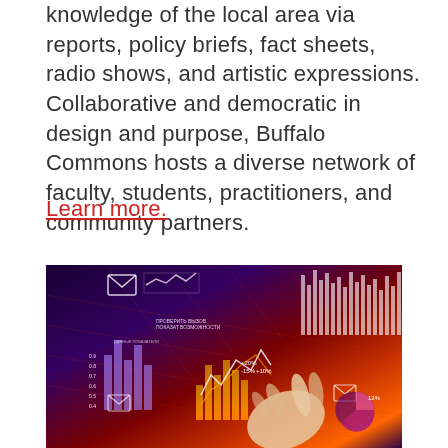knowledge of the local area via reports, policy briefs, fact sheets, radio shows, and artistic expressions. Collaborative and democratic in design and purpose, Buffalo Commons hosts a diverse network of faculty, students, practitioners, and community partners.
Learn more.
[Figure (photo): A hand pointing at a glowing digital data visualization interface showing various charts, graphs, bar charts, line charts, pie charts, and data analytics overlays on a dark purple and orange background.]